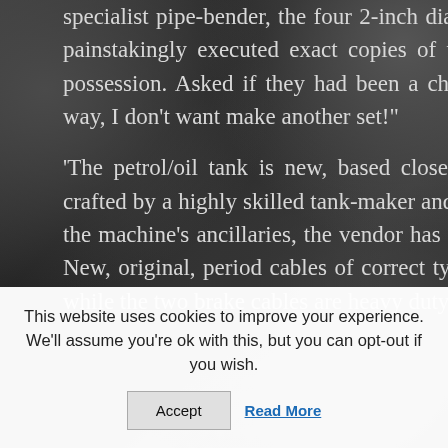specialist pipe-bender, the four 2-inch diameter exhaust pipes and Silent Ghost silencers are painstakingly executed exact copies of the original system, which is still in the vendor's possession. Asked if they had been a challenge, the master pipe-smith replied, "Put it this way, I don't want make another set!"
'The petrol/oil tank is new, based closely on the original design. It has been beautifully crafted by a highly skilled tank-maker and is fitted with the original filler caps. In assembling the machine's ancillaries, the vendor has endeavoured to use period parts wherever possible. New, original, period cables of correct type (with fabric outers) have been used throughout, while the two brake cables are heavy duty Bowdenex double-wound type as used on
This website uses cookies to improve your experience. We'll assume you're ok with this, but you can opt-out if you wish.
Accept
Read More